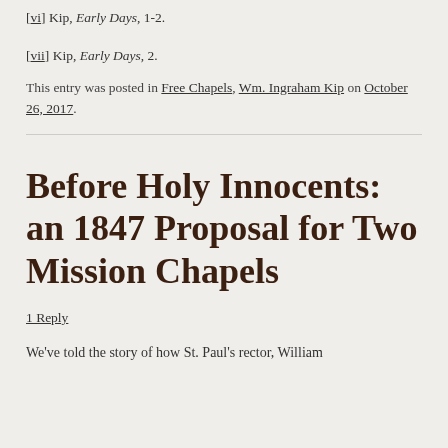[vi] Kip, Early Days, 1-2.
[vii] Kip, Early Days, 2.
This entry was posted in Free Chapels, Wm. Ingraham Kip on October 26, 2017.
Before Holy Innocents: an 1847 Proposal for Two Mission Chapels
1 Reply
We've told the story of how St. Paul's rector, William